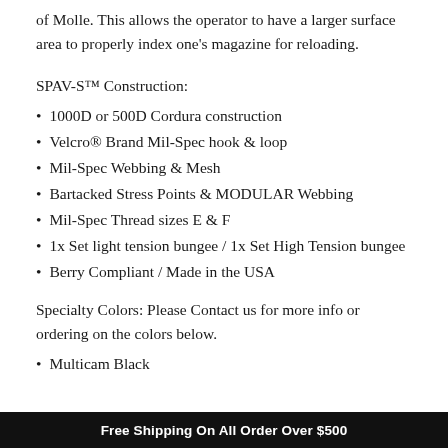of Molle. This allows the operator to have a larger surface area to properly index one's magazine for reloading.
SPAV-S™ Construction:
1000D or 500D Cordura construction
Velcro® Brand Mil-Spec hook & loop
Mil-Spec Webbing & Mesh
Bartacked Stress Points & MODULAR Webbing
Mil-Spec Thread sizes E &  F
1x Set light tension bungee / 1x Set High Tension bungee
Berry Compliant / Made in the USA
Specialty Colors: Please Contact us for more info or ordering on the colors below.
Multicam Black
Free Shipping On All Order Over $500